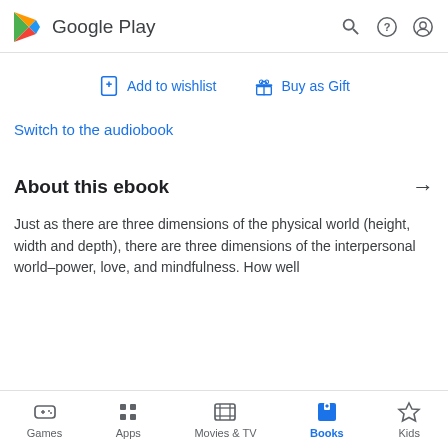Google Play
Add to wishlist   Buy as Gift
Switch to the audiobook
About this ebook
Just as there are three dimensions of the physical world (height, width and depth), there are three dimensions of the interpersonal world–power, love, and mindfulness. How well
Games  Apps  Movies & TV  Books  Kids